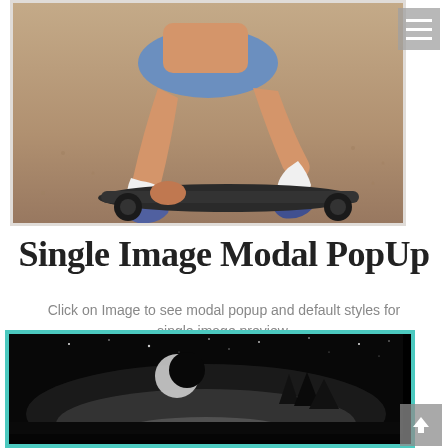[Figure (photo): Photo of a person sitting on a skateboard on a sandy/concrete surface, wearing denim shorts and white socks with sneakers. Cropped to show the lower body and the skateboard.]
Single Image Modal PopUp
Click on Image to see modal popup and default styles for single image preview.
[Figure (photo): Dark atmospheric photo of a nighttime landscape with a crescent moon, starry sky, misty trees, and a reflective water surface. Black and white/dark tones.]